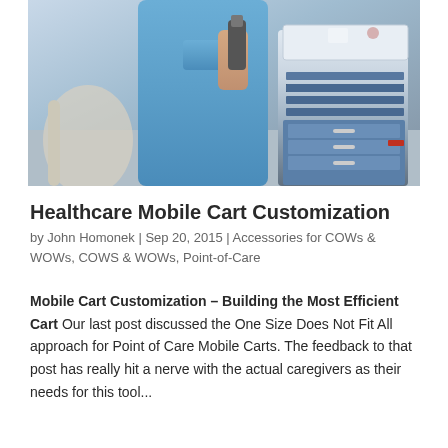[Figure (photo): Healthcare worker in blue scrubs holding a barcode scanner next to a medical mobile cart (COW/WOW) with drawers and a tray, hospital bed visible on the left]
Healthcare Mobile Cart Customization
by John Homonek | Sep 20, 2015 | Accessories for COWs & WOWs, COWS & WOWs, Point-of-Care
Mobile Cart Customization – Building the Most Efficient Cart Our last post discussed the One Size Does Not Fit All approach for Point of Care Mobile Carts. The feedback to that post has really hit a nerve with the actual caregivers as their needs for this tool...